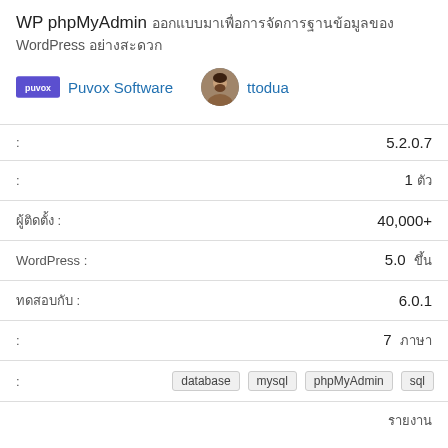WP phpMyAdmin ออกแบบมาเพื่อการจัดการฐานข้อมูล
Puvox Software | ttodua
| Label | Value |
| --- | --- |
| : | 5.2.0.7 |
| : | 1 ตัว |
| ผู้ติดตั้ง : | 40,000+ |
| WordPress : | 5.0 ขึ้น |
| ทดสอบกับ : | 6.0.1 |
| : | 7 ภาษา |
| : | database mysql phpMyAdmin sql |
รายงาน